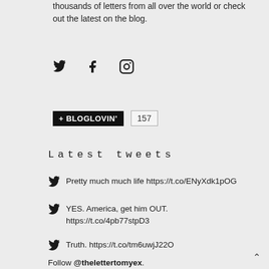thousands of letters from all over the world or check out the latest on the blog.
[Figure (infographic): Social media icons: Twitter bird, Facebook f, Instagram camera]
[Figure (infographic): Bloglovin badge with count 157]
Latest tweets
Pretty much much life https://t.co/ENyXdk1pOG
YES. America, get him OUT. https://t.co/4pb77stpD3
Truth. https://t.co/tm6uwjJ22O
Follow @thelettertomyex.